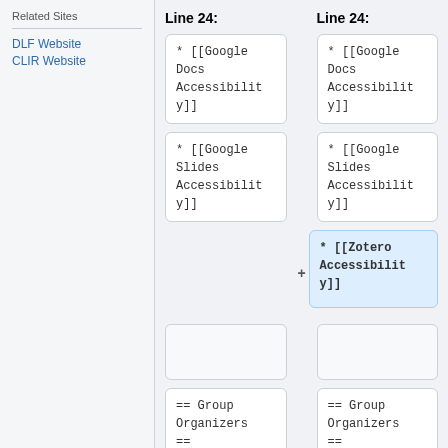Related Sites
DLF Website
CLIR Website
Line 24:
Line 24:
* [[Google Docs Accessibility]]
* [[Google Docs Accessibility]]
* [[Google Slides Accessibility]]
* [[Google Slides Accessibility]]
* [[Zotero Accessibility]]
== Group Organizers ==
== Group Organizers ==